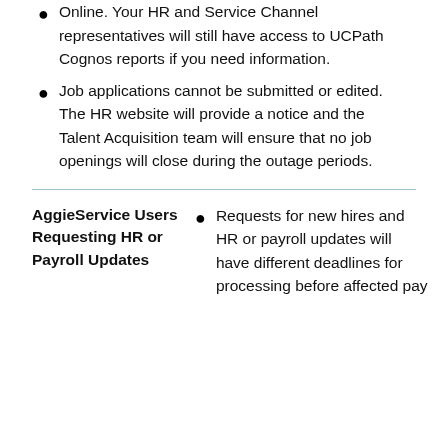Online. Your HR and Service Channel representatives will still have access to UCPath Cognos reports if you need information.
Job applications cannot be submitted or edited. The HR website will provide a notice and the Talent Acquisition team will ensure that no job openings will close during the outage periods.
AggieService Users Requesting HR or Payroll Updates
Requests for new hires and HR or payroll updates will have different deadlines for processing before affected pay